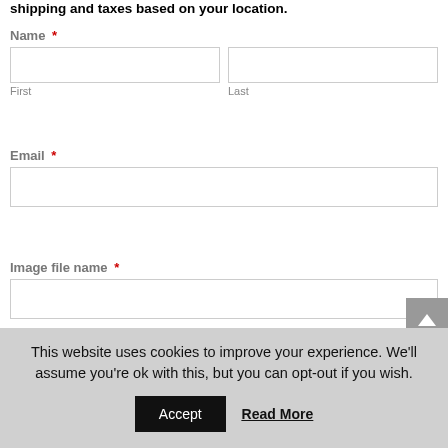shipping and taxes based on your location.
Name *
First
Last
Email *
Image file name *
Image size (required) *
This website uses cookies to improve your experience. We'll assume you're ok with this, but you can opt-out if you wish.
Accept
Read More